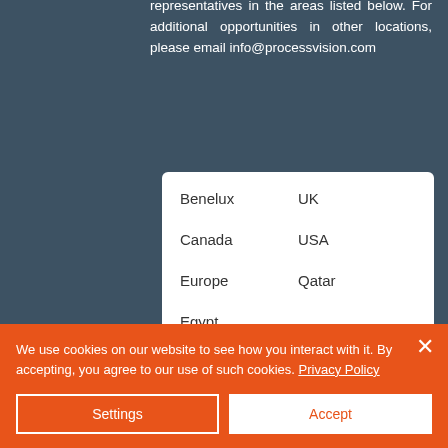representatives in the areas listed below. For additional opportunities in other locations, please email info@processvision.com
| Benelux | UK |
| Canada | USA |
| Europe | Qatar |
| Egypt |  |
Italy
Oman
We use cookies on our website to see how you interact with it. By accepting, you agree to our use of such cookies. Privacy Policy